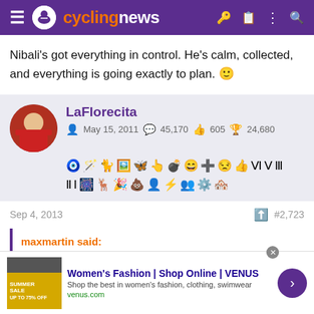cyclingnews
Nibali's got everything in control. He's calm, collected, and everything is going exactly to plan. 🙂
LaFlorecita | May 15, 2011 | 45,170 | 605 | 24,680
Sep 4, 2013  #2,723
maxmartin said:
Women's Fashion | Shop Online | VENUS — Shop the best in women's fashion, clothing, swimwear — venus.com